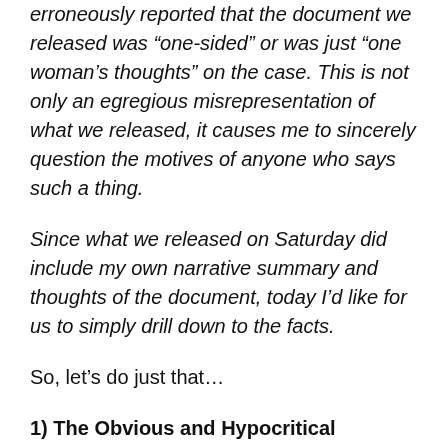erroneously reported that the document we released was “one-sided” or was just “one woman’s thoughts” on the case. This is not only an egregious misrepresentation of what we released, it causes me to sincerely question the motives of anyone who says such a thing.
Since what we released on Saturday did include my own narrative summary and thoughts of the document, today I’d like for us to simply drill down to the facts.
So, let’s do just that…
1) The Obvious and Hypocritical Contradiction
The author admits the original piece is laden with his own “narrative summary and thoughts,” yet he impugns the opinions of his critics.  Sorry, but what’s  good for the goose is good for the slander. The author also claims in